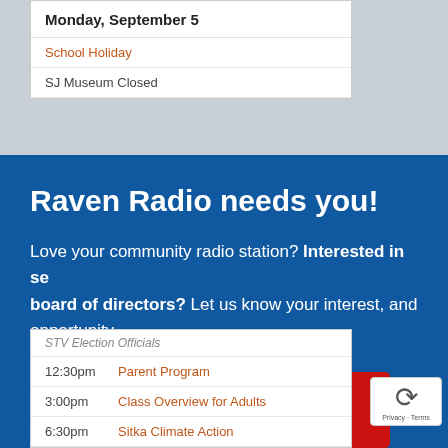Monday, September 5
School Holiday
SJ Museum Closed
Raven Radio needs you!
Love your community radio station? Interested in serving on the board of directors? Let us know your interest, and learn more about this opportunity.
Click here!
STV Election Officials
12:30pm  Parent Program
3:00pm   Class Overview for Adults
6:30pm   Sitka Climate Action